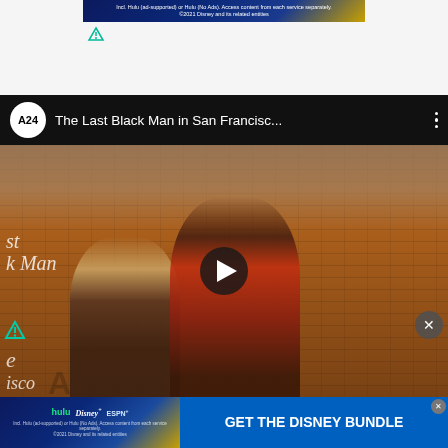[Figure (screenshot): Top Disney+ ad banner: 'Incl. Hulu (ad-supported) or Hulu (No Ads). Access content from each service separately. ©2021 Disney and its related entities']
[Figure (logo): Small green feather/fork icon logo]
[Figure (screenshot): YouTube video player showing 'The Last Black Man in San Francisc...' by A24, with thumbnail of two Black men looking upward in front of a brick building, play button overlay]
[Figure (screenshot): Bottom Disney Bundle advertisement: hulu, Disney+, ESPN+ logos on left; 'GET THE DISNEY BUNDLE' button on right; fine print below]